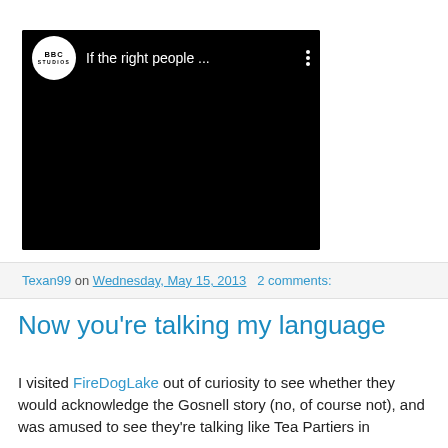[Figure (screenshot): Embedded BBC Studios YouTube video player with black background, showing 'If the right people ...' as the video title, with BBC Studios logo (circle with BBC text and STUDIOS below) on the left, video title in white, and three-dot menu icon on the right.]
Texan99 on Wednesday, May 15, 2013   2 comments:
Now you're talking my language
I visited FireDogLake out of curiosity to see whether they would acknowledge the Gosnell story (no, of course not), and was amused to see they're talking like Tea Partiers in